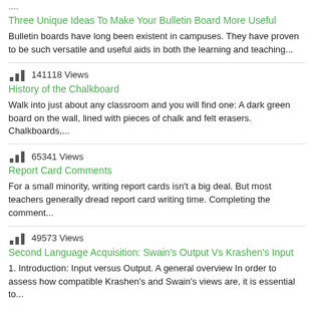....
Three Unique Ideas To Make Your Bulletin Board More Useful
Bulletin boards have long been existent in campuses. They have proven to be such versatile and useful aids in both the learning and teaching...
141118 Views
History of the Chalkboard
Walk into just about any classroom and you will find one: A dark green board on the wall, lined with pieces of chalk and felt erasers. Chalkboards,...
65341 Views
Report Card Comments
For a small minority, writing report cards isn't a big deal. But most teachers generally dread report card writing time. Completing the comment...
49573 Views
Second Language Acquisition: Swain's Output Vs Krashen's Input
1. Introduction: Input versus Output. A general overview In order to assess how compatible Krashen's and Swain's views are, it is essential to...